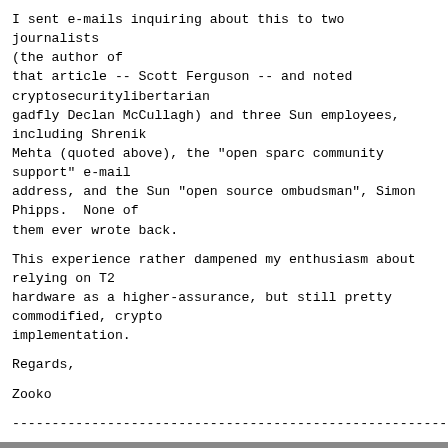I sent e-mails inquiring about this to two journalists (the author of that article -- Scott Ferguson -- and noted cryptosecuritylibertarian gadfly Declan McCullagh) and three Sun employees, including Shrenik Mehta (quoted above), the "open sparc community support" e-mail address, and the Sun "open source ombudsman", Simon Phipps.  None of them ever wrote back.
This experience rather dampened my enthusiasm about relying on T2 hardware as a higher-assurance, but still pretty commodified, crypto implementation.
Regards,
Zooko
------------------------------------------------------------------------- ---------------
The Cryptography Mailing List
Unsubscribe by sending "unsubscribe cryptography" to majordomo at metzdowd.com